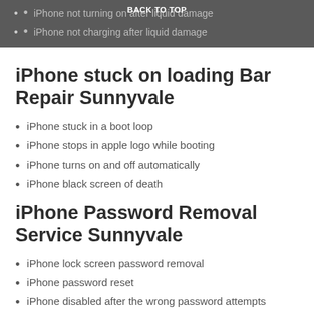BACK TO TOP
iPhone not turning on after liquid damage
iPhone not charging after liquid damage
iPhone stuck on loading Bar Repair Sunnyvale
iPhone stuck in a boot loop
iPhone stops in apple logo while booting
iPhone turns on and off automatically
iPhone black screen of death
iPhone Password Removal Service Sunnyvale
iPhone lock screen password removal
iPhone password reset
iPhone disabled after the wrong password attempts
iPhone apple id Password Removal